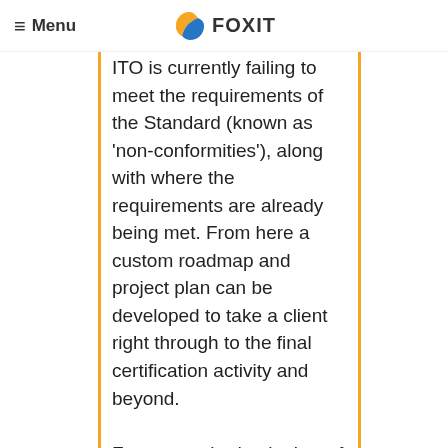Menu | FOX IT
ITO is currently failing to meet the requirements of the Standard (known as 'non-conformities'), along with where the requirements are already being met. From here a custom roadmap and project plan can be developed to take a client right through to the final certification activity and beyond.

For a more in-depth view of this Assessment step, then read Fox IT's paper ISO/IEC 20000: Three Steps to Certification, Step 2